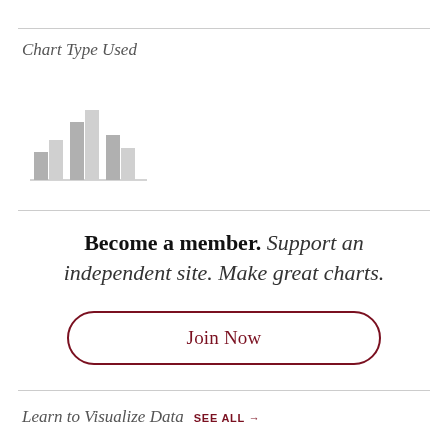Chart Type Used
[Figure (illustration): Small grayscale bar chart icon showing multiple bars of varying heights]
Become a member. Support an independent site. Make great charts.
Join Now
Learn to Visualize Data  SEE ALL →